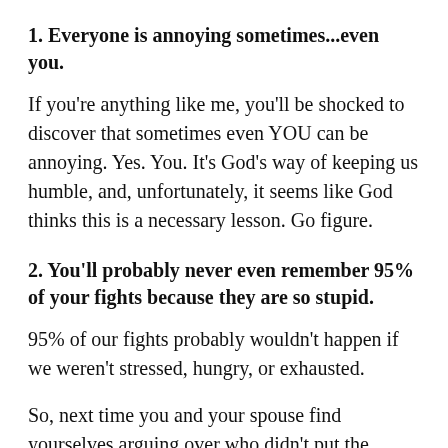1. Everyone is annoying sometimes...even you.
If you're anything like me, you'll be shocked to discover that sometimes even YOU can be annoying. Yes. You. It's God's way of keeping us humble, and, unfortunately, it seems like God thinks this is a necessary lesson. Go figure.
2. You'll probably never even remember 95% of your fights because they are so stupid.
95% of our fights probably wouldn't happen if we weren't stressed, hungry, or exhausted.
So, next time you and your spouse find yourselves arguing over who didn't put the groceries away...stop, take a deep breath, and ask yourself if you're stressed or hungry or sleepy.